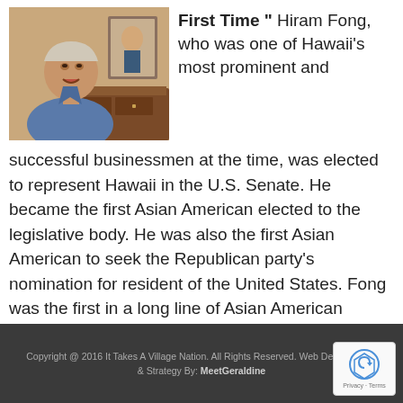[Figure (photo): Elderly Asian man in blue shirt speaking, seated near a wooden desk with a portrait painting in the background]
First Time " Hiram Fong, who was one of Hawaii's most prominent and successful businessmen at the time, was elected to represent Hawaii in the U.S. Senate. He became the first Asian American elected to the legislative body. He was also the first Asian American to seek the Republican party's nomination for resident of the United States. Fong was the first in a long line of Asian American elected officials to represent Hawaii, including Daniel Inouye, Daniel Akaka and Mazie Hirono.
Copyright @ 2016 It Takes A Village Nation. All Rights Reserved. Web Development & Strategy By: MeetGeraldine